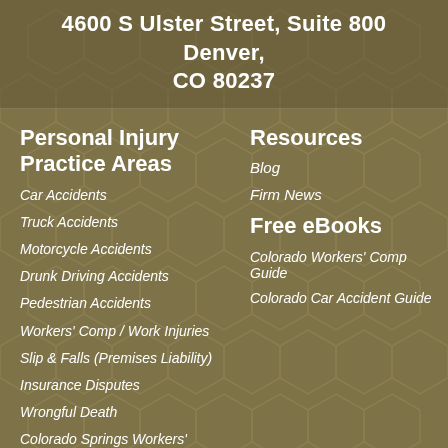4600 S Ulster Street, Suite 800 Denver, CO 80237
Personal Injury Practice Areas
Car Accidents
Truck Accidents
Motorcycle Accidents
Drunk Driving Accidents
Pedestrian Accidents
Workers' Comp / Work Injuries
Slip & Falls (Premises Liability)
Insurance Disputes
Wrongful Death
Colorado Springs Workers'
Resources
Blog
Firm News
Free eBooks
Colorado Workers' Comp Guide
Colorado Car Accident Guide